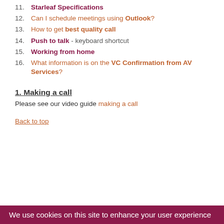11. Starleaf Specifications
12. Can I schedule meetings using Outlook?
13. How to get best quality call
14. Push to talk - keyboard shortcut
15. Working from home
16. What information is on the VC Confirmation from AV Services?
1. Making a call
Please see our video guide making a call
Back to top
We use cookies on this site to enhance your user experience